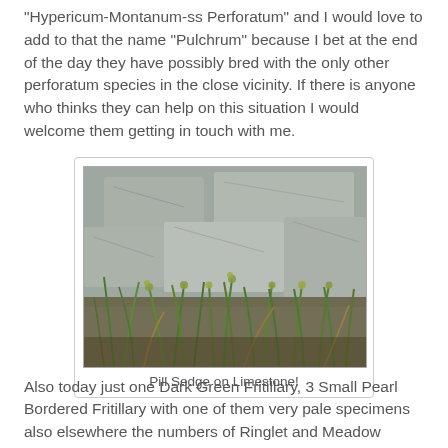"Hypericum-Montanum-ss Perforatum" and I would love to add to that the name "Pulchrum" because I bet at the end of the day they have possibly bred with the only other perforatum species in the close vicinity. If there is anyone who thinks they can help on this situation I would welcome them getting in touch with me.
[Figure (photo): A photograph of Pill Sedge plants growing on limestone rock, showing narrow green grass-like leaves with small seed heads, against a grey limestone background.]
Pill Sedge on Limestone!
Also today just one Dark Green Fritillary, 3 Small Pearl Bordered Fritillary with one of them very pale specimens also elsewhere the numbers of Ringlet and Meadow